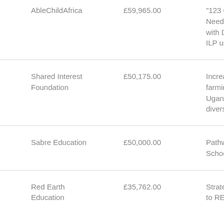| Organisation | Amount | Project |
| --- | --- | --- |
| AbleChildAfrica | £59,965.00 | "123 Go!" – Im Needs Identifi with Disabilitie ILP use in Uga |
| Shared Interest Foundation | £50,175.00 | Increasing the farming house Uganda throu diversification. |
| Sabre Education | £50,000.00 | Pathway to sc School for Gh |
| Red Earth Education | £35,762.00 | Strategic Plan to RE Uganda |